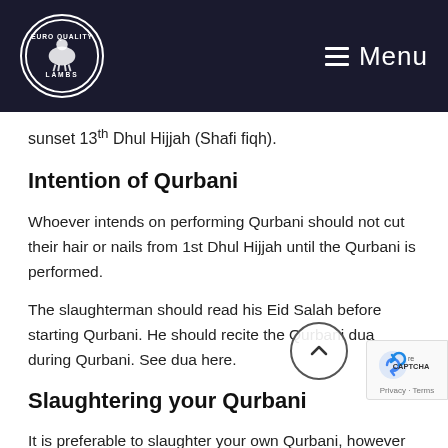Euro Quality Lambs — Menu
sunset 13th Dhul Hijjah (Shafi fiqh).
Intention of Qurbani
Whoever intends on performing Qurbani should not cut their hair or nails from 1st Dhul Hijjah until the Qurbani is performed.
The slaughterman should read his Eid Salah before starting Qurbani. He should recite the Qurbani dua during Qurbani. See dua here.
Slaughtering your Qurbani
It is preferable to slaughter your own Qurbani, however legislation requires slaughtermen to hold a Certificate of Competence before they can legally slaughter and it is better